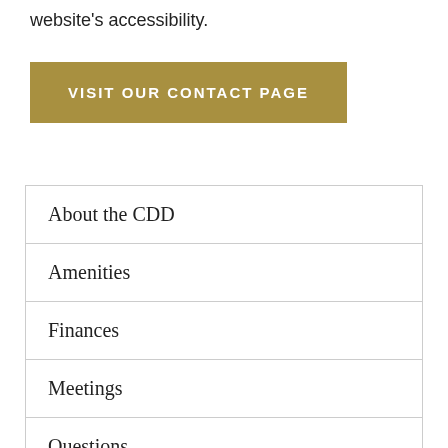website's accessibility.
VISIT OUR CONTACT PAGE
About the CDD
Amenities
Finances
Meetings
Questions
Services